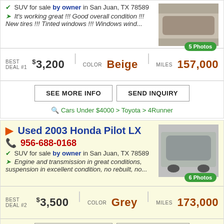SUV for sale by owner in San Juan, TX 78589
It's working great !!! Good overall condition !!! New tires !!! Tinted windows !!! Windows wind...
BEST DEAL #1  $3,200  |  COLOR Beige  |  MILES 157,000
SEE MORE INFO   SEND INQUIRY
Cars Under $4000 > Toyota > 4Runner
Used 2003 Honda Pilot LX
956-688-0168
SUV for sale by owner in San Juan, TX 78589
Engine and transmission in great conditions, suspension in excellent condition, no rebuilt, no...
BEST DEAL #2  $3,500  |  COLOR Grey  |  MILES 173,000
SEE MORE INFO   SEND INQUIRY
SUVs > Honda > Pilot